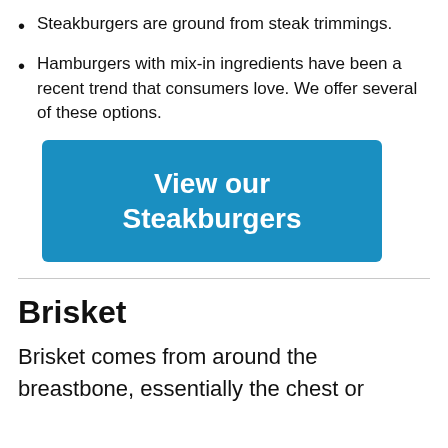Steakburgers are ground from steak trimmings.
Hamburgers with mix-in ingredients have been a recent trend that consumers love.  We offer several of these options.
[Figure (other): Blue button/banner with white bold text reading 'View our Steakburgers']
Brisket
Brisket comes from around the breastbone, essentially the chest or